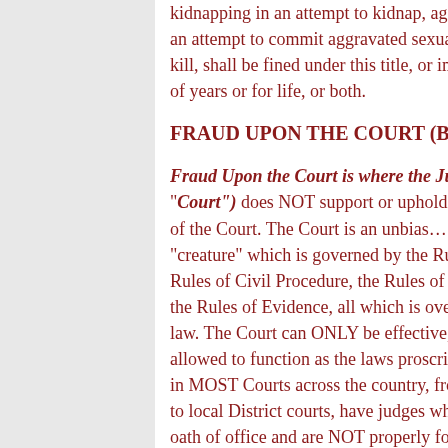kidnapping in an attempt to kidnap, aggravated sexual abuse, an attempt to commit aggravated sexual abuse, or an attempt to kill, shall be fined under this title, or imprisoned for any term of years or for life, or both.
FRAUD UPON THE COURT (By The C...
Fraud Upon the Court is where the Judge ("Court") does NOT support or uphold the integrity of the Court. The Court is an unbiased "creature" which is governed by the Rules of Civil Procedure, the Rules of Criminal Procedure, the Rules of Evidence, all which is overseen by case law. The Court can ONLY be effective, fair and just if allowed to function as the laws proscribe. Unfortunately, in MOST Courts across the country, from Federal Courts to local District courts, have judges who have violated their oath of office and are NOT properly following the law, and most attorney's do NOT as well, and as a result, the integrity of the court has been destroyed.